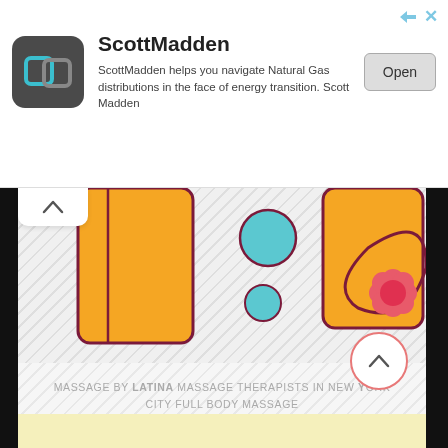[Figure (screenshot): Advertisement banner for ScottMadden with logo, title, description text, and Open button]
[Figure (illustration): Cartoon illustration showing massage-related clipart with orange/yellow figures, teal circles, and a pink flower, partially visible, with diagonal stripe background pattern]
massage by Latina massage therapists in new York city full body massage